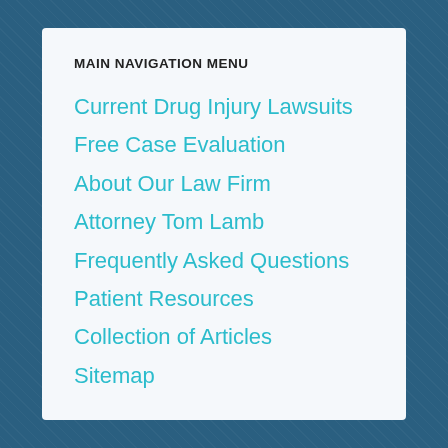MAIN NAVIGATION MENU
Current Drug Injury Lawsuits
Free Case Evaluation
About Our Law Firm
Attorney Tom Lamb
Frequently Asked Questions
Patient Resources
Collection of Articles
Sitemap